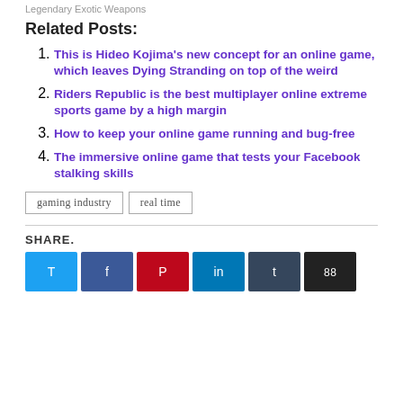Legendary Exotic Weapons
Related Posts:
This is Hideo Kojima's new concept for an online game, which leaves Dying Stranding on top of the weird
Riders Republic is the best multiplayer online extreme sports game by a high margin
How to keep your online game running and bug-free
The immersive online game that tests your Facebook stalking skills
gaming industry   real time
SHARE.